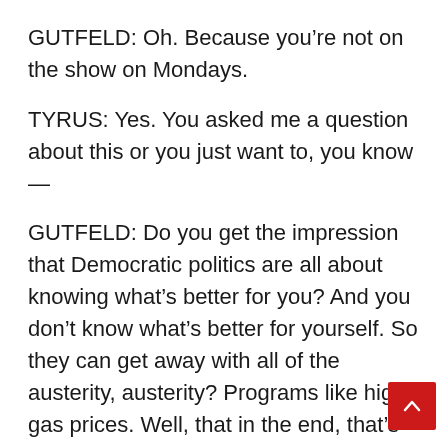GUTFELD: Oh. Because you’re not on the show on Mondays.
TYRUS: Yes. You asked me a question about this or you just want to, you know —
GUTFELD: Do you get the impression that Democratic politics are all about knowing what’s better for you? And you don’t know what’s better for yourself. So they can get away with all of the austerity, austerity? Programs like high gas prices. Well, that in the end, that’s good for you, because it's going to lower your gas consumption.
TYRUS: I think we’re getting kind of — you can combine the Hunter Biden situation with his